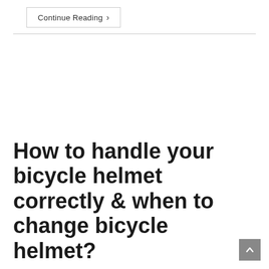Continue Reading ›
How to handle your bicycle helmet correctly & when to change bicycle helmet?